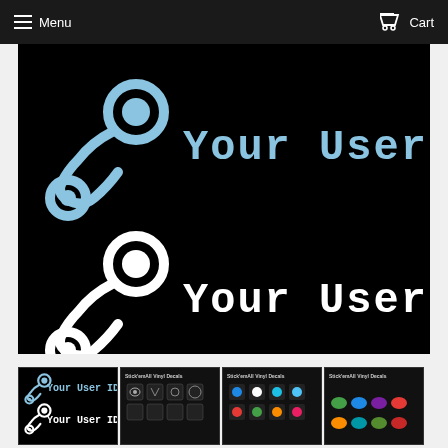Menu   Cart
[Figure (illustration): Product image showing two Steam logo + 'Your User ID' vinyl decal designs: one in light blue and one in white, on a black background.]
[Figure (illustration): Small thumbnail: Steam + Your User ID decal in blue/white on black background]
[Figure (illustration): Small thumbnail: Stick'emAll Vinyl Decals product variety black/white logos]
[Figure (illustration): Small thumbnail: Stick'emAll Vinyl Decals product variety colorful logos]
[Figure (illustration): Small thumbnail: Stick'emAll Vinyl Decals product variety colorful turtle logos]